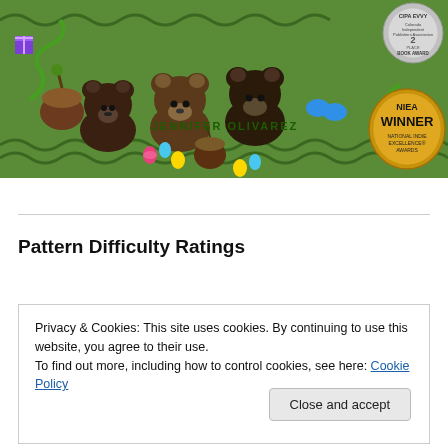[Figure (photo): Book cover showing crocheted bear amigurumi toys on a green textured background with CIPA EVVY Book Award badge (2nd place) and NIEA Winner National Indie Excellence Awards badge. Author name JENNIFER OLIVAREZ shown on the cover.]
Pattern Difficulty Ratings
Privacy & Cookies: This site uses cookies. By continuing to use this website, you agree to their use.
To find out more, including how to control cookies, see here: Cookie Policy
Close and accept